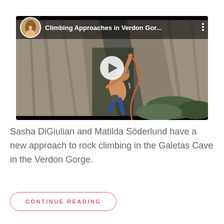[Figure (screenshot): Video thumbnail showing a rock climber scaling a steep limestone cliff in the Verdon Gorge. The video has a black header bar with a circular avatar photo of a woman with blonde hair, the title 'Climbing Approaches in Verdon Gor...' in white text, and three white dots (more options) on the right. A white circular play button is centered over the image.]
Sasha DiGiulian and Matilda Söderlund have a new approach to rock climbing in the Galetas Cave in the Verdon Gorge.
CONTINUE READING